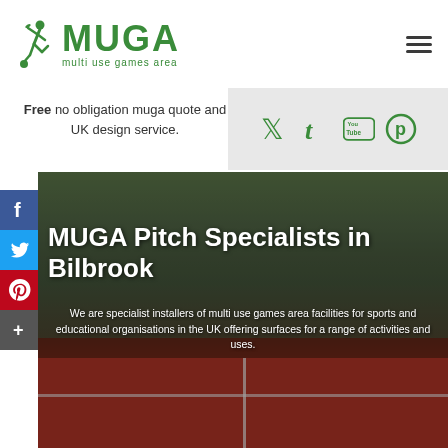[Figure (logo): MUGA multi use games area logo with running figure kicking a ball]
Free no obligation muga quote and UK design service.
[Figure (infographic): Social media icons: Twitter, Tumblr, YouTube, Pinterest in a grey bar]
[Figure (infographic): Side social media buttons: Facebook, Twitter, Pinterest, Share+]
[Figure (photo): MUGA pitch photo with trees in background and red/green court surface]
MUGA Pitch Specialists in Bilbrook
We are specialist installers of multi use games area facilities for sports and educational organisations in the UK offering surfaces for a range of activities and uses.